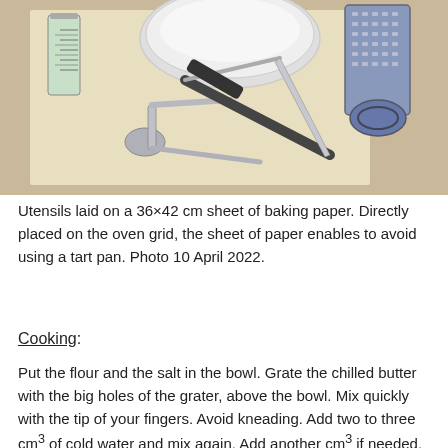[Figure (photo): Kitchen utensils (measuring cup, spoon, knife, box grater, bowl) laid on a 36×42 cm sheet of baking paper on a beige/tan surface.]
Utensils laid on a 36×42 cm sheet of baking paper. Directly placed on the oven grid, the sheet of paper enables to avoid using a tart pan. Photo 10 April 2022.
Cooking:
Put the flour and the salt in the bowl. Grate the chilled butter with the big holes of the grater, above the bowl. Mix quickly with the tip of your fingers. Avoid kneading. Add two to three cm³ of cold water and mix again. Add another cm³ if needed. Quickly form the bowl of dough.